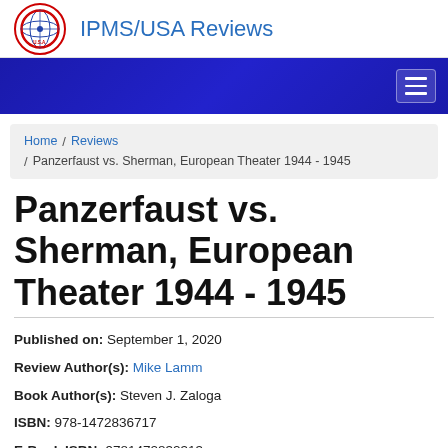IPMS/USA Reviews
Home / Reviews / Panzerfaust vs. Sherman, European Theater 1944 - 1945
Panzerfaust vs. Sherman, European Theater 1944 - 1945
Published on: September 1, 2020
Review Author(s): Mike Lamm
Book Author(s): Steven J. Zaloga
ISBN: 978-1472836717
E-Book ISBN: 9781472832313
Other Publication Information: Soft cover, 80 pages